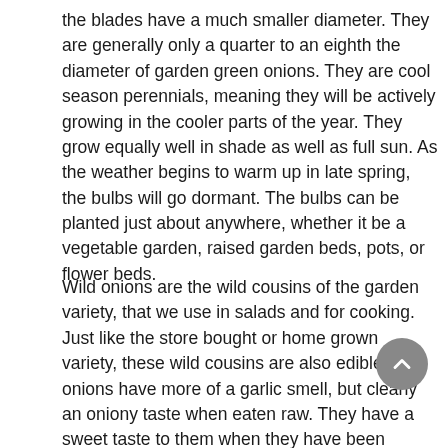the blades have a much smaller diameter. They are generally only a quarter to an eighth the diameter of garden green onions. They are cool season perennials, meaning they will be actively growing in the cooler parts of the year. They grow equally well in shade as well as full sun. As the weather begins to warm up in late spring, the bulbs will go dormant. The bulbs can be planted just about anywhere, whether it be a vegetable garden, raised garden beds, pots, or flower beds.
Wild onions are the wild cousins of the garden variety, that we use in salads and for cooking. Just like the store bought or home grown variety, these wild cousins are also edible. Wild onions have more of a garlic smell, but clearly an oniony taste when eaten raw. They have a sweet taste to them when they have been cooked. Nothing like cooking them down in a good old cast iron